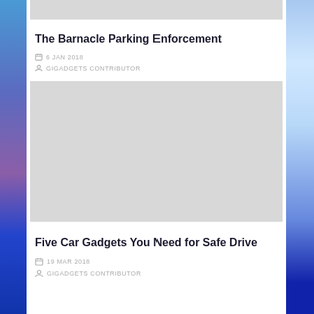[Figure (other): Gray placeholder image at top (partial, cropped)]
The Barnacle Parking Enforcement
6 JAN 2018
GIGADGETS CONTRIBUTOR
[Figure (other): Gray placeholder image for second article]
Five Car Gadgets You Need for Safe Drive
19 MAR 2018
GIGADGETS CONTRIBUTOR